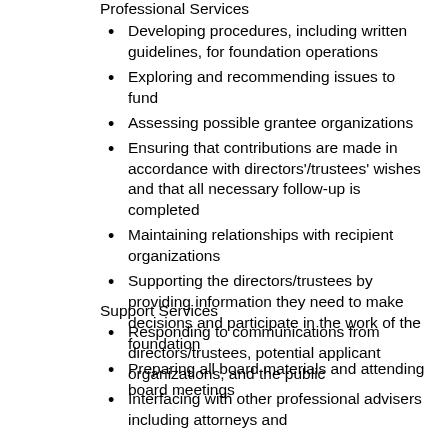Professional Services
Developing procedures, including written guidelines, for foundation operations
Exploring and recommending issues to fund
Assessing possible grantee organizations
Ensuring that contributions are made in accordance with directors'/trustees' wishes and that all necessary follow-up is completed
Maintaining relationships with recipient organizations
Supporting the directors/trustees by providing information they need to make decisions and participate in the work of the foundation
Preparing all board materials and attending board meetings
Support Services
Responding to communications from directors/trustees, potential applicant organizations, and the public
Interfacing with other professional advisers including attorneys and